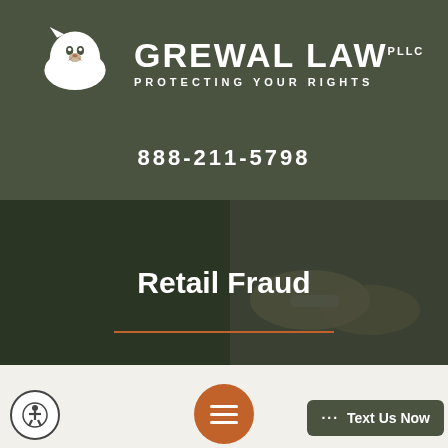[Figure (logo): Grewal Law PLLC logo with white lion head silhouette on olive green background, with text GREWAL LAW PLLC and tagline PROTECTING YOUR RIGHTS]
888-211-5798
[Figure (photo): Dark background photo showing hands in handcuffs, overlaid with semi-transparent dark green, with title Retail Fraud and a brown/orange horizontal divider line below]
Retail Fraud
RETAIL FRAUD & SHOPLIFTING DEFENSE ATTORNEYS